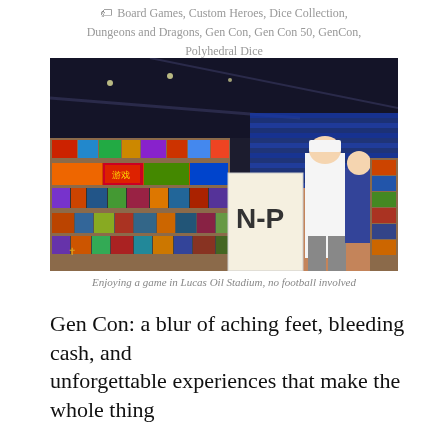Board Games, Custom Heroes, Dice Collection, Dungeons and Dragons, Gen Con, Gen Con 50, GenCon, Polyhedral Dice
[Figure (photo): Interior of Lucas Oil Stadium converted into a game library/convention hall with rows of board games on shelves and a person browsing the N-P section, stadium seating visible in background.]
Enjoying a game in Lucas Oil Stadium, no football involved
Gen Con: a blur of aching feet, bleeding cash, and unforgettable experiences that make the whole thing